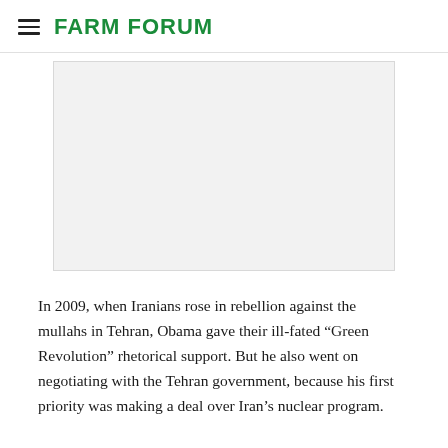FARM FORUM
[Figure (other): Advertisement placeholder — light gray rectangle with border]
In 2009, when Iranians rose in rebellion against the mullahs in Tehran, Obama gave their ill-fated “Green Revolution” rhetorical support. But he also went on negotiating with the Tehran government, because his first priority was making a deal over Iran’s nuclear program.